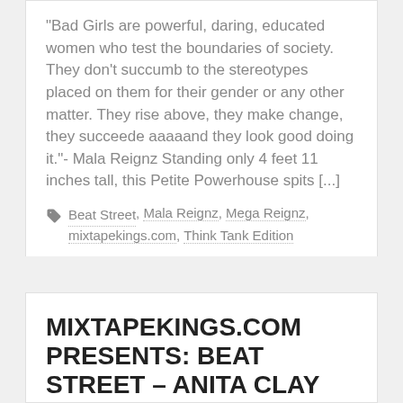“Bad Girls are powerful, daring, educated women who test the boundaries of society. They don’t succumb to the stereotypes placed on them for their gender or any other matter. They rise above, they make change, they succeede aaaaand they look good doing it.”- Mala Reignz Standing only 4 feet 11 inches tall, this Petite Powerhouse spits [...]
Beat Street, Mala Reignz, Mega Reignz, mixtapekings.com, Think Tank Edition
View Post
MIXTAPEKINGS.COM PRESENTS: BEAT STREET – ANITA CLAY INTERVIEWS ILLA